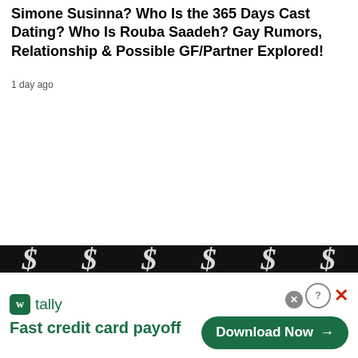Simone Susinna? Who Is the 365 Days Cast Dating? Who Is Rouba Saadeh? Gay Rumors, Relationship & Possible GF/Partner Explored!
1 day ago
[Figure (screenshot): Black advertisement banner strip with large dollar signs in white]
[Figure (screenshot): Tally app advertisement banner: green Tally logo icon, tally name, tagline 'Fast credit card payoff', green Download Now button with arrow, help and close buttons]